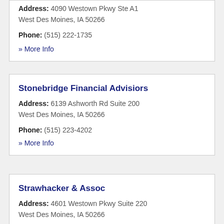Address: 4090 Westown Pkwy Ste A1 West Des Moines, IA 50266
Phone: (515) 222-1735
» More Info
Stonebridge Financial Advisiors
Address: 6139 Ashworth Rd Suite 200 West Des Moines, IA 50266
Phone: (515) 223-4202
» More Info
Strawhacker & Assoc
Address: 4601 Westown Pkwy Suite 220 West Des Moines, IA 50266